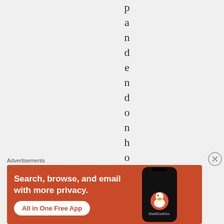p a n d e n d o n h o v
Advertisements
[Figure (screenshot): DuckDuckGo advertisement banner with orange background showing 'Search, browse, and email with more privacy. All in One Free App' with a phone mockup and DuckDuckGo logo]